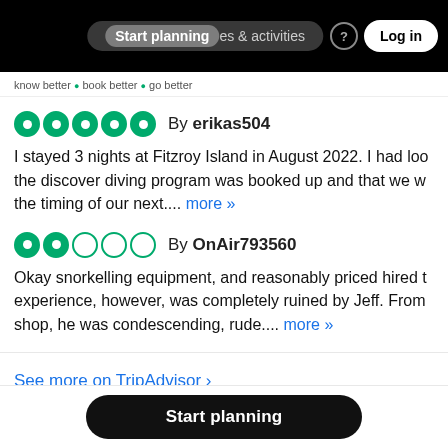Start planning | places & activities | Log in
know better ® book better ® go better
By erikas504 — I stayed 3 nights at Fitzroy Island in August 2022. I had loo the discover diving program was booked up and that we w the timing of our next.... more »
By OnAir793560 — Okay snorkelling equipment, and reasonably priced hired t experience, however, was completely ruined by Jeff. From shop, he was condescending, rude.... more »
See more on TripAdvisor ›
Start planning